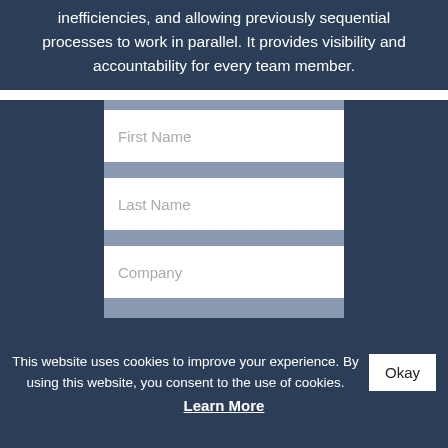inefficiencies, and allowing previously sequential processes to work in parallel. It provides visibility and accountability for every team member.
[Figure (screenshot): A web form with four input fields: First Name, Last Name, Company, Phone, displayed on a grey-blue background.]
This website uses cookies to improve your experience. By using this website, you consent to the use of cookies. Okay
Learn More